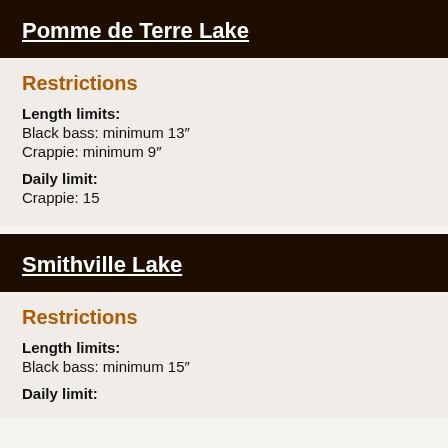Pomme de Terre Lake
Restrictions
Length limits:
Black bass: minimum 13″
Crappie: minimum 9″
Daily limit:
Crappie: 15
Smithville Lake
Restrictions
Length limits:
Black bass: minimum 15″
Daily limit: